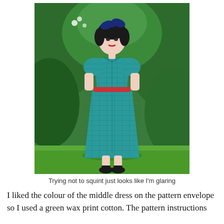[Figure (photo): A woman standing in a garden wearing a teal/green wax print cotton dress with short puffed sleeves, a red belt, and knee-length skirt. She has dark hair with a large navy blue bow. She is wearing black Mary Jane shoes and is surrounded by green garden foliage.]
Trying not to squint just looks like I'm glaring
I liked the colour of the middle dress on the pattern envelope so I used a green wax print cotton. The pattern instructions